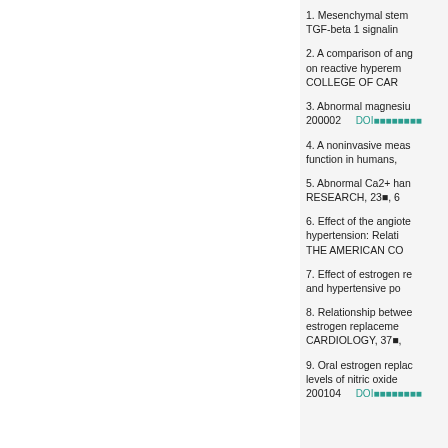1. Mesenchymal stem TGF-beta 1 signalin
2. A comparison of ang on reactive hyperem COLLEGE OF CAR
3. Abnormal magnesiu 200002    DOI■■■■■■■■
4. A noninvasive meas function in humans,
5. Abnormal Ca2+ han RESEARCH, 23■, 6
6. Effect of the angiote hypertension: Relati THE AMERICAN CO
7. Effect of estrogen re and hypertensive po
8. Relationship betwee estrogen replaceme CARDIOLOGY, 37■,
9. Oral estrogen replac levels of nitric oxide 200104    DOI■■■■■■■■